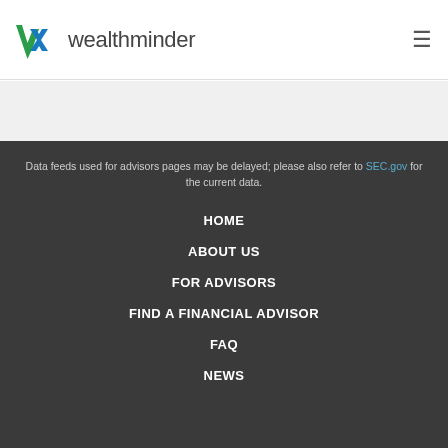[Figure (logo): Wealthminder logo with green and blue W mark and gray wealthminder text]
Data feeds used for advisors pages may be delayed; please also refer to SEC.gov for the current data.
HOME
ABOUT US
FOR ADVISORS
FIND A FINANCIAL ADVISOR
FAQ
NEWS